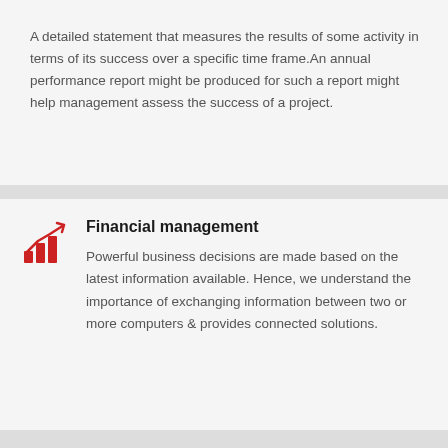A detailed statement that measures the results of some activity in terms of its success over a specific time frame.An annual performance report might be produced for such a report might help management assess the success of a project.
Financial management
[Figure (illustration): Red bar chart icon with upward trending arrow, representing financial growth]
Powerful business decisions are made based on the latest information available. Hence, we understand the importance of exchanging information between two or more computers & provides connected solutions.